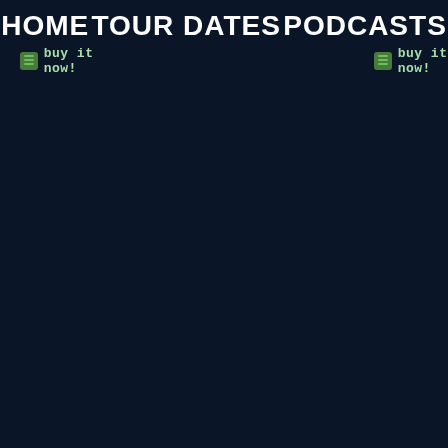HOME   TOUR DATES   PODCASTS
Buy it now!   Buy it now!